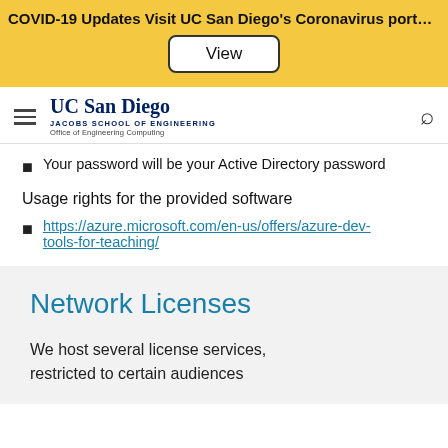COVID-19 Updates Visit UC San Diego's Coronavirus portal for t...
[Figure (screenshot): View button in yellow COVID-19 banner]
[Figure (logo): UC San Diego Jacobs School of Engineering, Office of Engineering Computing logo with hamburger menu and search icon]
Your password will be your Active Directory password
Usage rights for the provided software
https://azure.microsoft.com/en-us/offers/azure-dev-tools-for-teaching/
Network Licenses
We host several license services, restricted to certain audiences